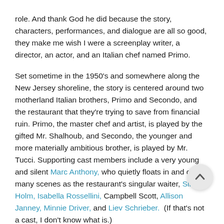role. And thank God he did because the story, characters, performances, and dialogue are all so good, they make me wish I were a screenplay writer, a director, an actor, and an Italian chef named Primo.
Set sometime in the 1950's and somewhere along the New Jersey shoreline, the story is centered around two motherland Italian brothers, Primo and Secondo, and the restaurant that they're trying to save from financial ruin. Primo, the master chef and artist, is played by the gifted Mr. Shalhoub, and Secondo, the younger and more materially ambitious brother, is played by Mr. Tucci. Supporting cast members include a very young and silent Marc Anthony, who quietly floats in and out of many scenes as the restaurant's singular waiter, Sir Ian Hol[m,] Isabella Rossellini, Campbell Scott, Allison Janney, Minnie Driver, and Liev Schrieber.  (If that's not a cast, I don't know what is.)